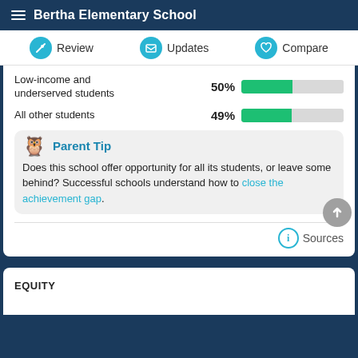Bertha Elementary School
Review   Updates   Compare
Low-income and underserved students   50%
All other students   49%
Parent Tip
Does this school offer opportunity for all its students, or leave some behind? Successful schools understand how to close the achievement gap.
Sources
EQUITY